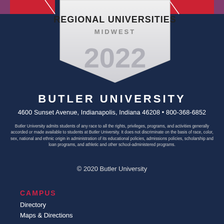[Figure (illustration): US News Regional Universities Midwest 2022 badge/shield with red ribbon flags on left and right, white shield shape with bold text REGIONAL UNIVERSITIES MIDWEST 2022]
BUTLER UNIVERSITY
4600 Sunset Avenue, Indianapolis, Indiana 46208 • 800-368-6852
Butler University admits students of any race to all the rights, privileges, programs, and activities generally accorded or made available to students at Butler University. It does not discriminate on the basis of race, color, sex, national and ethnic origin in administration of its educational policies, admissions policies, scholarship and loan programs, and athletic and other school-administered programs.
© 2020 Butler University
CAMPUS
Directory
Maps & Directions